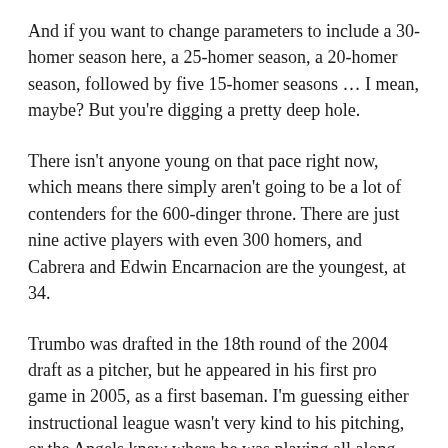And if you want to change parameters to include a 30-homer season here, a 25-homer season, a 20-homer season, followed by five 15-homer seasons … I mean, maybe? But you're digging a pretty deep hole.
There isn't anyone young on that pace right now, which means there simply aren't going to be a lot of contenders for the 600-dinger throne. There are just nine active players with even 300 homers, and Cabrera and Edwin Encarnacion are the youngest, at 34.
Trumbo was drafted in the 18th round of the 2004 draft as a pitcher, but he appeared in his first pro game in 2005, as a first baseman. I'm guessing either instructional league wasn't very kind to his pitching, or the Angels knew where he was playing all along.